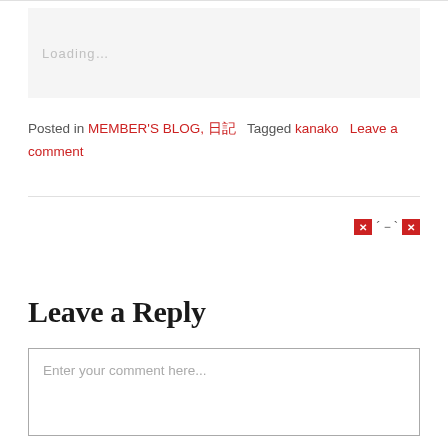[Figure (other): Loading placeholder box with grey background showing 'Loading...' text]
Posted in MEMBER'S BLOG, 日記　Tagged kanako　Leave a comment
[Figure (other): Broken image icon showing red X placeholders with dashes]
Leave a Reply
Enter your comment here...